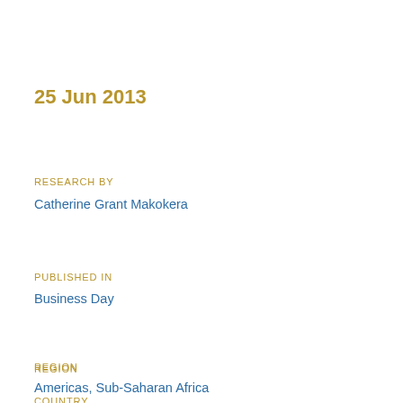25 Jun 2013
RESEARCH BY
Catherine Grant Makokera
PUBLISHED IN
Business Day
REGION
Americas, Sub-Saharan Africa
COUNTRY